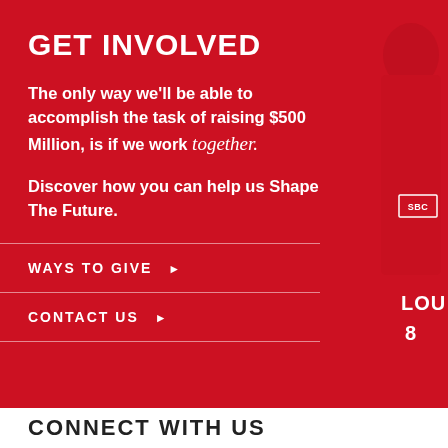GET INVOLVED
The only way we'll be able to accomplish the task of raising $500 Million, is if we work together.
Discover how you can help us Shape The Future.
WAYS TO GIVE ▶
CONTACT US ▶
CONNECT WITH US